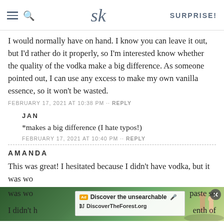SK — SURPRISE!
I would normally have on hand. I know you can leave it out, but I'd rather do it properly, so I'm interested know whether the quality of the vodka make a big difference. As someone pointed out, I can use any excess to make my own vanilla essence, so it won't be wasted.
FEBRUARY 17, 2021 AT 10:38 PM · · REPLY
JAN
*makes a big difference (I hate typos!)
FEBRUARY 17, 2021 AT 10:40 PM · · REPLY
AMANDA
This was great! I hesitated because I didn't have vodka, but it was wo… paste so I didn't h… enth of
[Figure (screenshot): Advertisement overlay showing 'Discover the unsearchable' and 'DiscoverTheForest.org' with forest background image and close button]